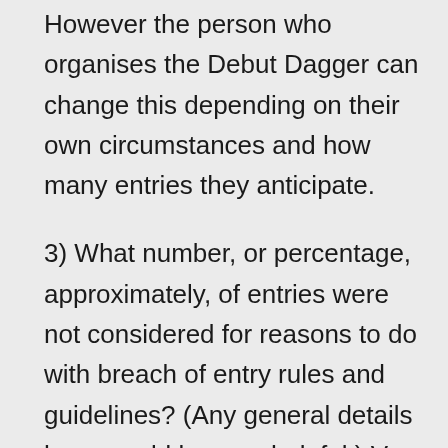However the person who organises the Debut Dagger can change this depending on their own circumstances and how many entries they anticipate.
3) What number, or percentage, approximately, of entries were not considered for reasons to do with breach of entry rules and guidelines? (Any general details here would be very helpful.) Very few is the short answer. There are a few things that we do see year in year out – entries that are too long, that don't follow the guidelines, are